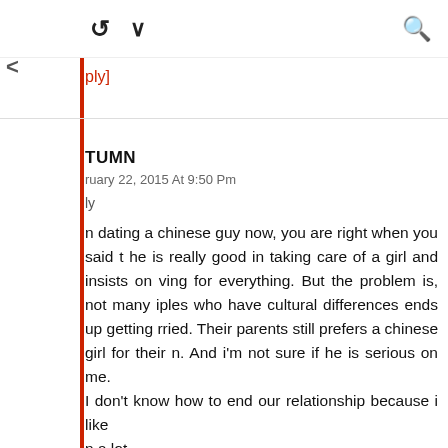[Figure (screenshot): Toolbar with retweet icon, chevron/dropdown icon, and search icon]
ply]
TUMN
ruary 22, 2015 At 9:50 Pm
ly
n dating a chinese guy now, you are right when you said t he is really good in taking care of a girl and insists on ving for everything. But the problem is, not many iples who have cultural differences ends up getting rried. Their parents still prefers a chinese girl for their n. And i'm not sure if he is serious on me.
I don't know how to end our relationship because i like n a lot.